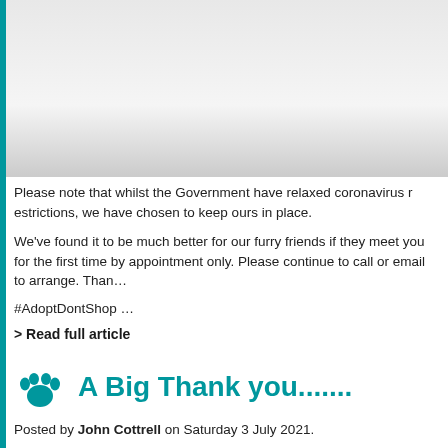[Figure (photo): Partially visible photo/image at top of page with white and grey tones, cropped]
Please note that whilst the Government have relaxed coronavirus restrictions, we have chosen to keep ours in place.
We've found it to be much better for our furry friends if they meet you for the first time by appointment only. Please continue to call or email to arrange. Than...
#AdoptDontShop …
> Read full article
A Big Thank you.......
Posted by John Cottrell on Saturday 3 July 2021.